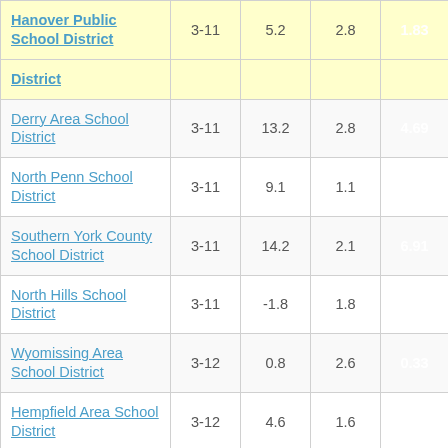| School District | Grades | Col3 | Col4 | Col5 |
| --- | --- | --- | --- | --- |
| Hanover Public School District | 3-11 | 5.2 | 2.8 | 1.83 |
| District |  |  |  |  |
| Derry Area School District | 3-11 | 13.2 | 2.8 | 4.69 |
| North Penn School District | 3-11 | 9.1 | 1.1 | 8.36 |
| Southern York County School District | 3-11 | 14.2 | 2.1 | 6.91 |
| North Hills School District | 3-11 | -1.8 | 1.8 | -0.96 |
| Wyomissing Area School District | 3-12 | 0.8 | 2.6 | 0.33 |
| Hempfield Area School District | 3-12 | 4.6 | 1.6 | 2.86 |